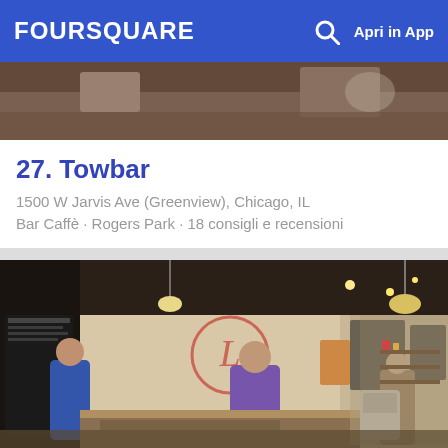FOURSQUARE   Apri in App
[Figure (photo): Top partial photo of a dark/blurred scene, cropped at top of card 1]
27. Towbar
1500 W Jarvis Ave (Greenview), Chicago, IL
Bar Caffè · Rogers Park · 18 consigli e recensioni
[Figure (photo): Interior of Lovely: A Bake Shop with customers, chalkboard menus, hanging lights, and a bicycle visible in background. An L logo on the wall.]
28. Lovely: A Bake Shop
1130 N Milwaukee Ave, Chicago, IL